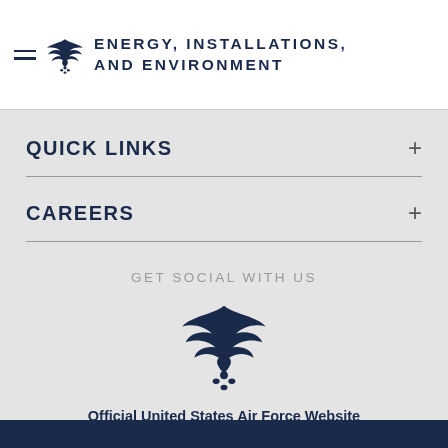ENERGY, INSTALLATIONS, AND ENVIRONMENT
QUICK LINKS
CAREERS
GET SOCIAL WITH US
[Figure (logo): United States Air Force wing logo, large, dark navy blue]
Official United States Air Force Website